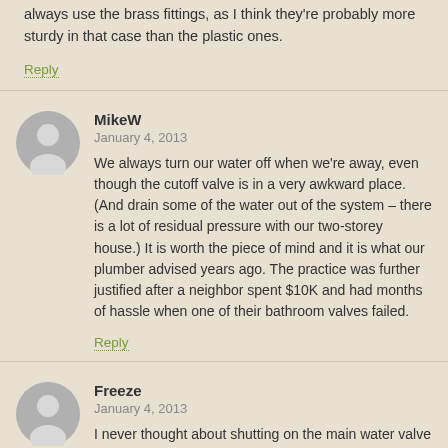always use the brass fittings, as I think they're probably more sturdy in that case than the plastic ones.
Reply
MikeW
January 4, 2013
We always turn our water off when we're away, even though the cutoff valve is in a very awkward place. (And drain some of the water out of the system – there is a lot of residual pressure with our two-storey house.) It is worth the piece of mind and it is what our plumber advised years ago. The practice was further justified after a neighbor spent $10K and had months of hassle when one of their bathroom valves failed.
Reply
Freeze
January 4, 2013
I never thought about shutting on the main water valve and we leave for week long vacations a couple times a year. Thanks for the tip.